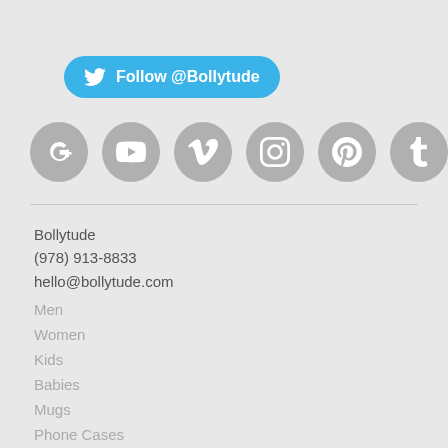[Figure (other): Twitter Follow @Bollytude button in blue with Twitter bird icon]
[Figure (other): Row of six gray social media icon circles: Google+, YouTube, Vimeo, Instagram, Pinterest, Tumblr]
Bollytude
(978) 913-8833
hello@bollytude.com
Men
Women
Kids
Babies
Mugs
Phone Cases
Nautanki
About us
Our story
Fanbook